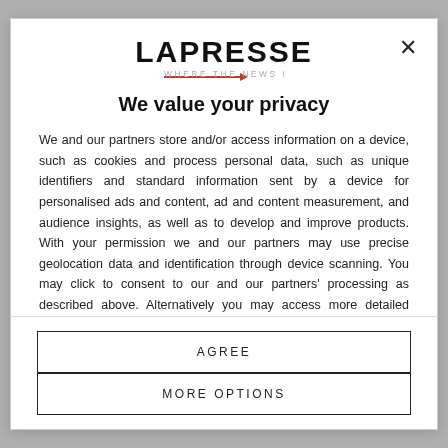[Figure (logo): LaPresse logo with tagline 'WHERE THE NEWS IS' and red arrow underline]
We value your privacy
We and our partners store and/or access information on a device, such as cookies and process personal data, such as unique identifiers and standard information sent by a device for personalised ads and content, ad and content measurement, and audience insights, as well as to develop and improve products. With your permission we and our partners may use precise geolocation data and identification through device scanning. You may click to consent to our and our partners' processing as described above. Alternatively you may access more detailed information and change your preferences before consenting or to refuse consenting.
AGREE
MORE OPTIONS